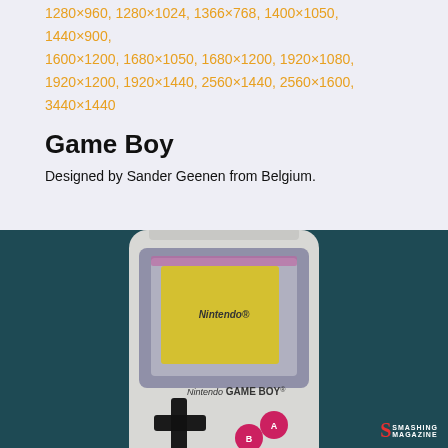1280×960, 1280×1024, 1366×768, 1400×1050, 1440×900, 1600×1200, 1680×1050, 1680×1200, 1920×1080, 1920×1200, 1920×1440, 2560×1440, 2560×1600, 3440×1440
Game Boy
Designed by Sander Geenen from Belgium.
[Figure (illustration): Illustration of a Nintendo Game Boy handheld console on a dark teal background, showing the game boy with a yellow screen displaying Nintendo logo, d-pad controls, A and B buttons, and SELECT/START buttons. Smashing Magazine logo in bottom-right corner.]